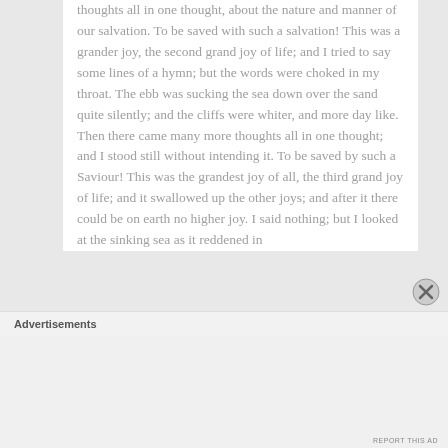thoughts all in one thought, about the nature and manner of our salvation. To be saved with such a salvation! This was a grander joy, the second grand joy of life; and I tried to say some lines of a hymn; but the words were choked in my throat. The ebb was sucking the sea down over the sand quite silently; and the cliffs were whiter, and more day like. Then there came many more thoughts all in one thought; and I stood still without intending it. To be saved by such a Saviour! This was the grandest joy of all, the third grand joy of life; and it swallowed up the other joys; and after it there could be on earth no higher joy. I said nothing; but I looked at the sinking sea as it reddened in
Advertisements